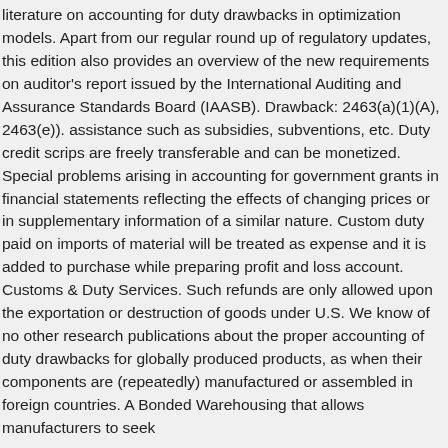literature on accounting for duty drawbacks in optimization models. Apart from our regular round up of regulatory updates, this edition also provides an overview of the new requirements on auditor's report issued by the International Auditing and Assurance Standards Board (IAASB). Drawback: 2463(a)(1)(A), 2463(e)). assistance such as subsidies, subventions, etc. Duty credit scrips are freely transferable and can be monetized. Special problems arising in accounting for government grants in financial statements reflecting the effects of changing prices or in supplementary information of a similar nature. Custom duty paid on imports of material will be treated as expense and it is added to purchase while preparing profit and loss account. Customs & Duty Services. Such refunds are only allowed upon the exportation or destruction of goods under U.S. We know of no other research publications about the proper accounting of duty drawbacks for globally produced products, as when their components are (repeatedly) manufactured or assembled in foreign countries. A Bonded Warehousing that allows manufacturers to seek